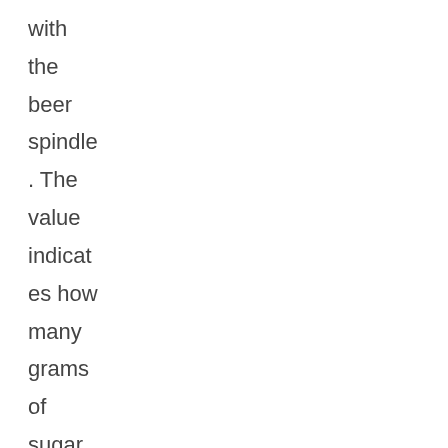with the beer spindle. The value indicates how many grams of sugar and other components